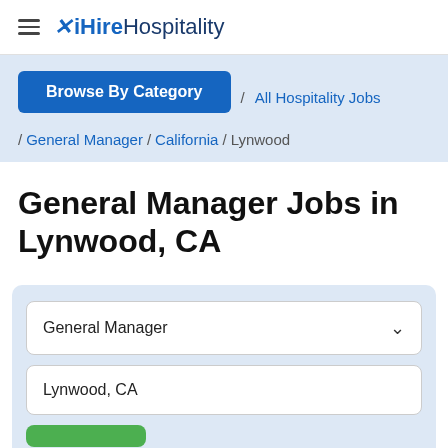iHireHospitality
Browse By Category / All Hospitality Jobs / General Manager / California / Lynwood
General Manager Jobs in Lynwood, CA
General Manager [dropdown]
Lynwood, CA [text input]